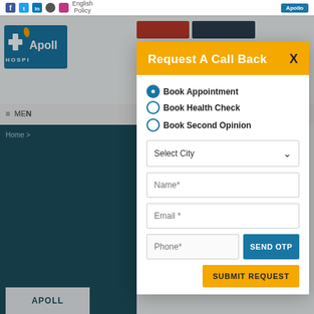Apollo Hospitals - navigation bar with social icons, English/Policy, Apollo logo
[Figure (screenshot): Apollo Hospitals logo with teal cross and flame icon]
Request A Call Back
Book Appointment (selected), Book Health Check, Book Second Opinion
Select City
Name*
Email*
Phone*
SEND OTP
SUBMIT REQUEST